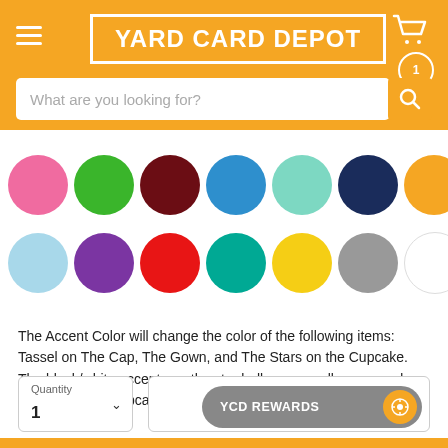[Figure (screenshot): Yard Card Depot website header with orange background, hamburger menu, logo in white border box, and cart icon]
[Figure (infographic): Two rows of color swatches: Row 1: pink, green, dark red/maroon, blue, teal/mint, navy, orange. Row 2: light blue, purple, red, teal, yellow, gray, white]
The Accent Color will change the color of the following items: Tassel on The Cap, The Gown, and The Stars on the Cupcake. The black/white accents on the star balloons, small caps, grad circles and the cupcakes bottoms WILL NOT change. These will remain the same.
[Figure (screenshot): Quantity selector showing '1' with dropdown arrow, and YCD Rewards button in gray with orange circle icon]